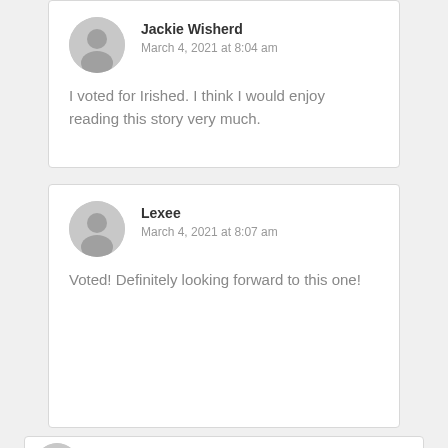Jackie Wisherd
March 4, 2021 at 8:04 am
I voted for Irished. I think I would enjoy reading this story very much.
Lexee
March 4, 2021 at 8:07 am
Voted! Definitely looking forward to this one!
Sandy Kelly